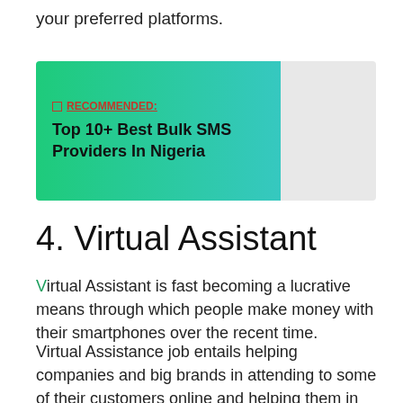your preferred platforms.
[Figure (infographic): Recommended box with green-to-teal gradient background on the left side and grey on the right. Contains red underlined label 'RECOMMENDED:' and bold text 'Top 10+ Best Bulk SMS Providers In Nigeria'.]
4. Virtual Assistant
Virtual Assistant is fast becoming a lucrative means through which people make money with their smartphones over the recent time.
Virtual Assistance job entails helping companies and big brands in attending to some of their customers online and helping them in carrying out other online tasks.